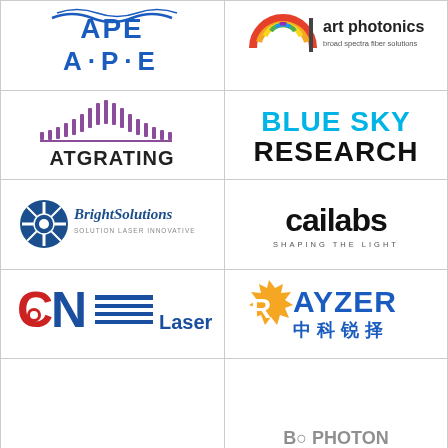[Figure (logo): A·P·E logo with blue stylized letters above A·P·E text]
[Figure (logo): art photonics logo with colorful arc and text 'broad spectra fiber solutions']
[Figure (logo): ATGRATING logo with purple arc of vertical lines above text]
[Figure (logo): BLUE SKY RESEARCH logo in cyan and black bold text]
[Figure (logo): BrightSolutions logo with blue circle/star icon and italic text 'SOLUTION LASER INNOVATIVE']
[Figure (logo): cailabs logo in black with tagline 'SHAPING THE LIGHT']
[Figure (logo): CNI Laser logo with red/blue stylized letters and horizontal lines]
[Figure (logo): RAYZER logo in orange and blue with Chinese characters 中科锐择]
[Figure (logo): Partial logo visible at bottom row left]
[Figure (logo): Partial logo visible at bottom row right]